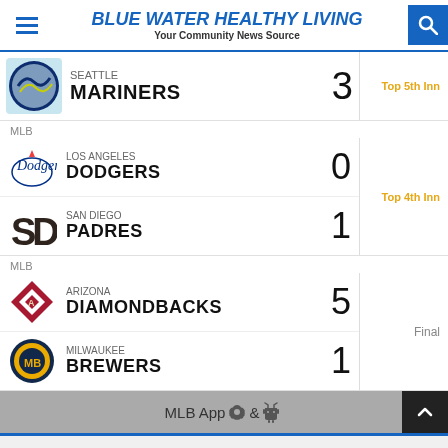BLUE WATER HEALTHY LIVING — Your Community News Source
Seattle MARINERS 3 Top 5th Inn
MLB
Los Angeles DODGERS 0
San Diego PADRES 1
Top 4th Inn
MLB
ARIZONA DIAMONDBACKS 5
MILWAUKEE BREWERS 1
Final
MLB App &